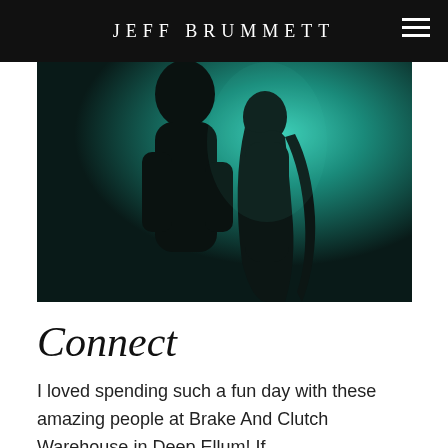JEFF BRUMMETT
[Figure (photo): Silhouette of a couple facing each other intimately against a teal/cyan lit background, both figures in dark shadow.]
Connect
I loved spending such a fun day with these amazing people at Brake And Clutch Warehouse in Deep Ellum!  If